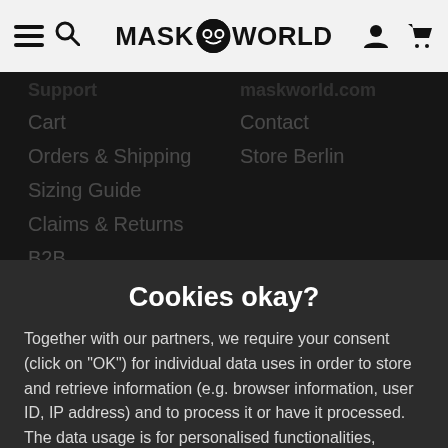MASKWORLD navigation bar with hamburger menu, search, logo, account, and cart icons
Support
Cart
Orders & Shipping
Sizing Guide
Claims & Returns
B2B
My Account
After Sales
Make-up Tutorials
maskworld.com
Contact
Store Berlin
Product Information
Cookies okay?
Together with our partners, we require your consent (click on "OK") for individual data uses in order to store and retrieve information (e.g. browser information, user ID, IP address) and to process it or have it processed. The data usage is for personalised functionalities, content and ads
OK